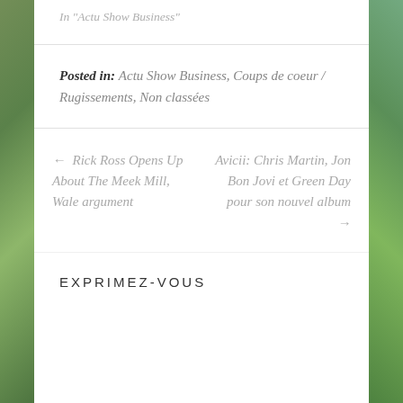In "Actu Show Business"
Posted in: Actu Show Business, Coups de coeur / Rugissements, Non classées
← Rick Ross Opens Up About The Meek Mill, Wale argument
Avicii: Chris Martin, Jon Bon Jovi et Green Day pour son nouvel album →
EXPRIMEZ-VOUS